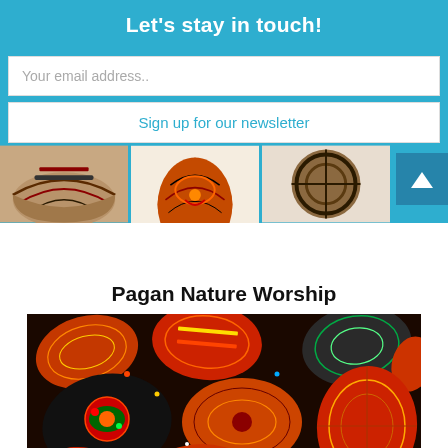Let's stay in touch!
Your email address..
Sign up for our newsletter
[Figure (photo): Three decorative pottery/egg thumbnails partially visible]
Pagan Nature Worship
[Figure (photo): Collection of colorful decorated pysanka Easter eggs with intricate geometric and floral patterns]